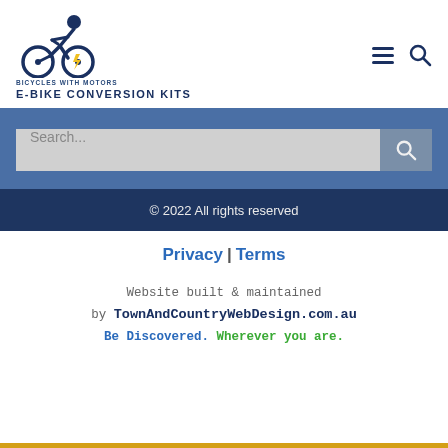[Figure (logo): Bicycles With Motors logo: cyclist on a bicycle with electric bolt, two wheels, dark blue and yellow colors, text 'BICYCLES WITH MOTORS' and 'E-BIKE CONVERSION KITS']
Search...
© 2022 All rights reserved
Privacy | Terms
Website built & maintained by TownAndCountryWebDesign.com.au
Be Discovered. Wherever you are.